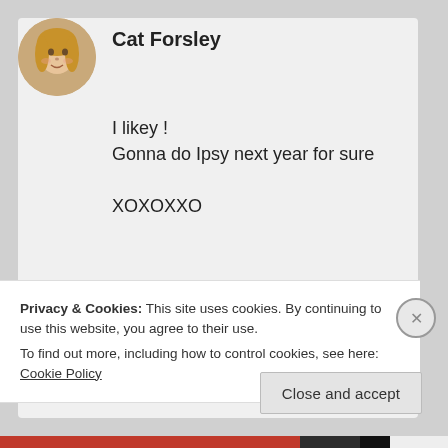[Figure (photo): Circular avatar photo of Cat Forsley, a woman with blonde hair]
Cat Forsley
I likey !
Gonna do Ipsy next year for sure

XOXOXXO
★ Liked by 1 person
DECEMBER 19, 2016 AT 8:36 AM
Privacy & Cookies: This site uses cookies. By continuing to use this website, you agree to their use.
To find out more, including how to control cookies, see here: Cookie Policy
Close and accept